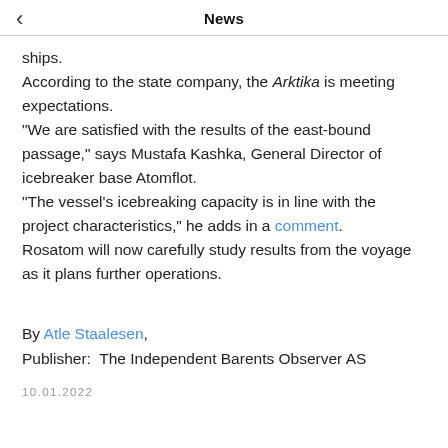News
ships.
According to the state company, the Arktika is meeting expectations.
"We are satisfied with the results of the east-bound passage," says Mustafa Kashka, General Director of icebreaker base Atomflot.
"The vessel's icebreaking capacity is in line with the project characteristics," he adds in a comment.
Rosatom will now carefully study results from the voyage as it plans further operations.
By Atle Staalesen,
Publisher:  The Independent Barents Observer AS
10.01.2022